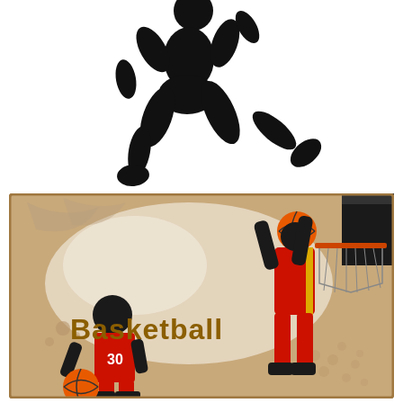[Figure (illustration): Black silhouette of a basketball player jumping/running in mid-air on white background]
[Figure (illustration): Basketball poster with grunge/vintage style background in tan/beige tones. Shows two players in red uniforms — player #30 dribbling a basketball on the left, and a taller player dunking near a basketball hoop on the right. The word 'Basketball' is displayed in bold brown/gold stylized text in the center-left area.]